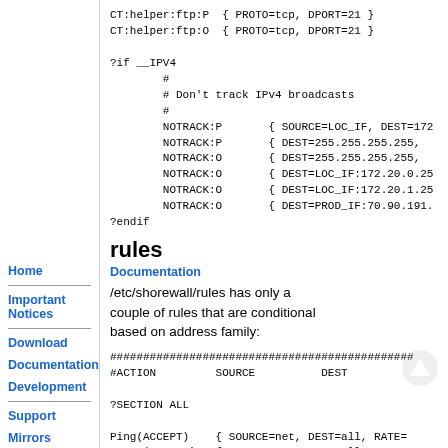CT:helper:ftp:P { PROTO=tcp, DPORT=21 }
CT:helper:ftp:O { PROTO=tcp, DPORT=21 }

?if __IPV4
    #
    # Don't track IPv4 broadcasts
    #
    NOTRACK:P      { SOURCE=LOC_IF, DEST=172
    NOTRACK:P      { DEST=255.255.255.255,
    NOTRACK:O      { DEST=255.255.255.255,
    NOTRACK:O      { DEST=LOC_IF:172.20.0.25
    NOTRACK:O      { DEST=LOC_IF:172.20.1.25
    NOTRACK:O      { DEST=PROD_IF:70.90.191.
?endif
rules
Documentation
/etc/shorewall/rules has only a couple of rules that are conditional based on address family:
##############################################
#ACTION         SOURCE          DEST

?SECTION ALL

Ping(ACCEPT)    { SOURCE=net, DEST=all, RATE=
Tract(ACCEPT)   { SOURCE=net, DEST=all, RATE=